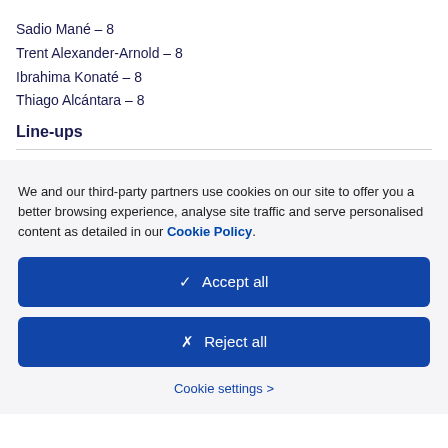Sadio Mané – 8
Trent Alexander-Arnold – 8
Ibrahima Konaté – 8
Thiago Alcántara – 8
Line-ups
We and our third-party partners use cookies on our site to offer you a better browsing experience, analyse site traffic and serve personalised content as detailed in our Cookie Policy.
✓  Accept all
✗  Reject all
Cookie settings >